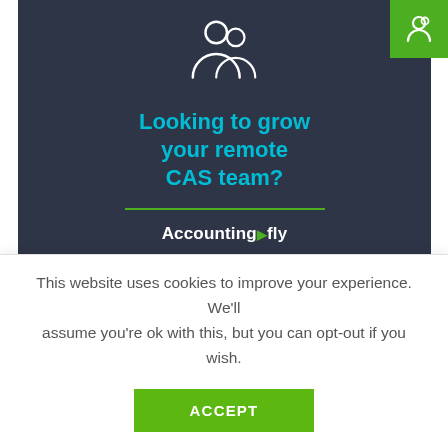[Figure (illustration): Accountingfly advertisement banner with dark navy background, people icon, cyan headline 'Looking to grow your remote CAS team?', green divider line, and Accountingfly logo in white.]
Accounting
This website uses cookies to improve your experience. We'll assume you're ok with this, but you can opt-out if you wish.
ACCEPT